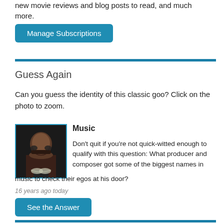new movie reviews and blog posts to read, and much more.
Manage Subscriptions
Guess Again
Can you guess the identity of this classic goo? Click on the photo to zoom.
[Figure (photo): Close-up photo of a person wearing glasses, resting their chin on their hand, dark background]
Music
Don't quit if you're not quick-witted enough to qualify with this question: What producer and composer got some of the biggest names in music to check their egos at his door?
16 years ago today
See the Answer